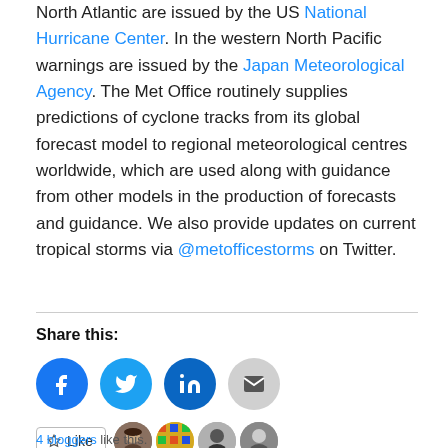North Atlantic are issued by the US National Hurricane Center. In the western North Pacific warnings are issued by the Japan Meteorological Agency. The Met Office routinely supplies predictions of cyclone tracks from its global forecast model to regional meteorological centres worldwide, which are used along with guidance from other models in the production of forecasts and guidance. We also provide updates on current tropical storms via @metofficestorms on Twitter.
Share this:
[Figure (infographic): Social share buttons: Facebook (blue circle), Twitter (blue circle), LinkedIn (blue circle), Email (grey circle)]
[Figure (infographic): Like button with star icon and 4 blogger avatar photos]
4 bloggers like this.